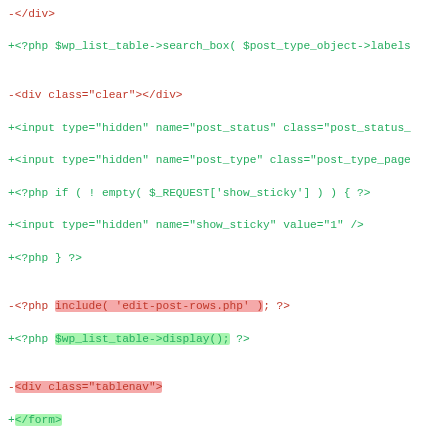[Figure (screenshot): A code diff view showing changes to PHP/HTML code, with removed lines in red and added lines in green. Highlighted portions show specific changed tokens. The diff includes changes related to wp_list_table, post status hidden inputs, PHP conditionals, and various HTML elements.]